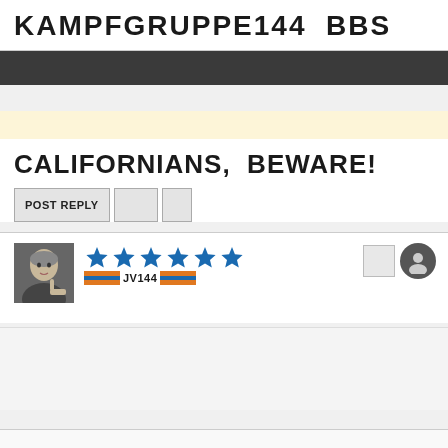KAMPFGRUPPE144  BBS
CALIFORNIANS,  BEWARE!
POST REPLY
[Figure (screenshot): User avatar photo of a bald man, and a rank/rating display showing 6 blue stars and a rank badge reading JV144 with orange and blue horizontal stripes]
[Figure (illustration): User profile icon (circle silhouette) and a small square button on the right side of the post header]